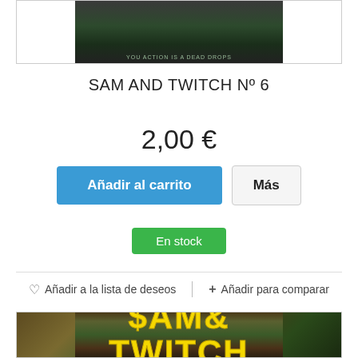[Figure (photo): Top portion of a comic book cover showing dark figures, partially cropped]
SAM AND TWITCH Nº 6
2,00 €
Añadir al carrito
Más
En stock
Añadir a la lista de deseos
+ Añadir para comparar
[Figure (photo): Comic book cover of Sam and Twitch with yellow stylized text logo on dark textured background]